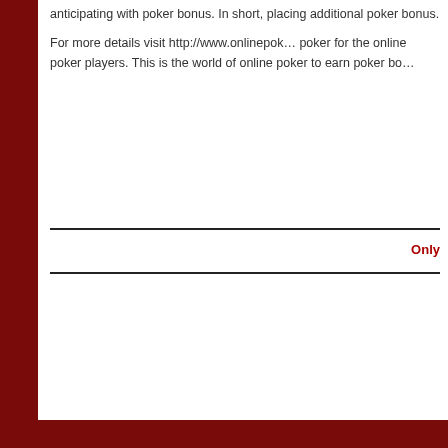anticipating with poker bonus. In short, placing additional poker bonus.
For more details visit http://www.onlinepok… poker for the online poker players. This is the world of online poker to earn poker bo…
Only
Copyright © 2022 Casino and Gambling A… Joomla! is Free Software released under t…
Statcounter